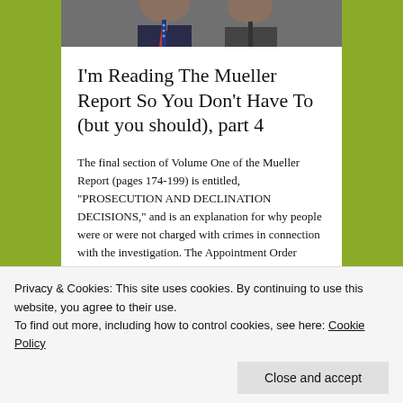[Figure (photo): Partial photo of people in suits, cropped at top, showing ties and jacket collars]
I'm Reading The Mueller Report So You Don't Have To (but you should), part 4
The final section of Volume One of the Mueller Report (pages 174-199) is entitled, "PROSECUTION AND DECLINATION DECISIONS," and is an explanation for why people were or were not charged with crimes in connection with the investigation. The Appointment Order authorized the Special Counsel's Office (SCO) to "prosecute federal crimes arising from [its]
Privacy & Cookies: This site uses cookies. By continuing to use this website, you agree to their use.
To find out more, including how to control cookies, see here: Cookie Policy
Close and accept